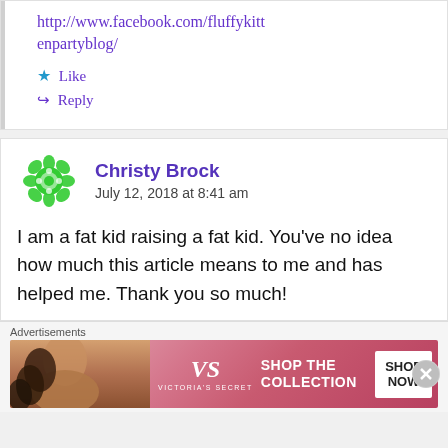http://www.facebook.com/fluffykittenpartyblog/
★ Like
↪ Reply
Christy Brock
July 12, 2018 at 8:41 am
[Figure (illustration): Green mandala-style avatar icon for user Christy Brock]
I am a fat kid raising a fat kid. You've no idea how much this article means to me and has helped me. Thank you so much!
Advertisements
[Figure (infographic): Victoria's Secret advertisement banner showing a model, VS logo, 'SHOP THE COLLECTION' text and 'SHOP NOW' button in pink]